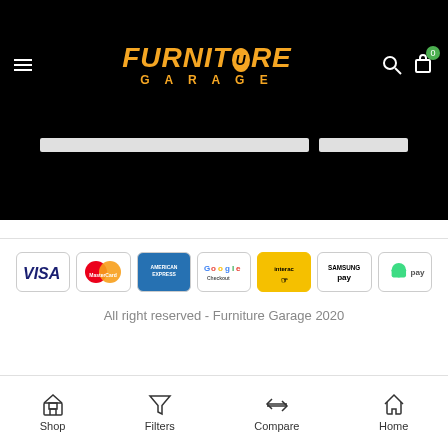[Figure (logo): Furniture Garage logo with orange text on black background, hamburger menu, search and cart icons]
[Figure (infographic): Payment method logos: Visa, MasterCard, American Express, Google Checkout, Interac, Samsung Pay, Android Pay]
All right reserved - Furniture Garage 2020
Shop  Filters  Compare  Home